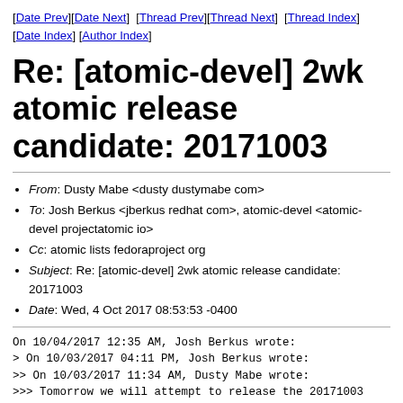[Date Prev][Date Next]  [Thread Prev][Thread Next]  [Thread Index] [Date Index] [Author Index]
Re: [atomic-devel] 2wk atomic release candidate: 20171003
From: Dusty Mabe <dusty dustymabe com>
To: Josh Berkus <jberkus redhat com>, atomic-devel <atomic-devel projectatomic io>
Cc: atomic lists fedoraproject org
Subject: Re: [atomic-devel] 2wk atomic release candidate: 20171003
Date: Wed, 4 Oct 2017 08:53:53 -0400
On 10/04/2017 12:35 AM, Josh Berkus wrote:
> On 10/03/2017 04:11 PM, Josh Berkus wrote:
>> On 10/03/2017 11:34 AM, Dusty Mabe wrote:
>>> Tomorrow we will attempt to release the 20171003 imag
>>> These images contain the following ostree version/co
>>>